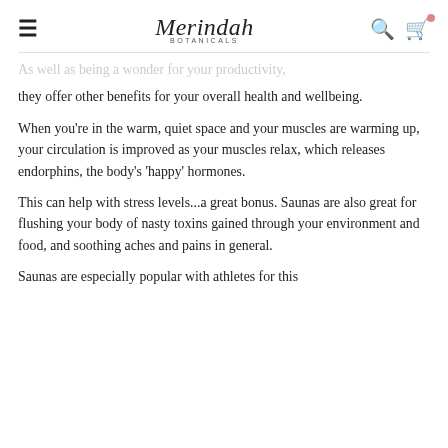Merindah Botanicals
As well as being a wonder for your productivity, they offer other benefits for your overall health and wellbeing.
When you're in the warm, quiet space and your muscles are warming up, your circulation is improved as your muscles relax, which releases endorphins, the body's 'happy' hormones.
This can help with stress levels...a great bonus. Saunas are also great for flushing your body of nasty toxins gained through your environment and food, and soothing aches and pains in general.
Saunas are especially popular with athletes for this